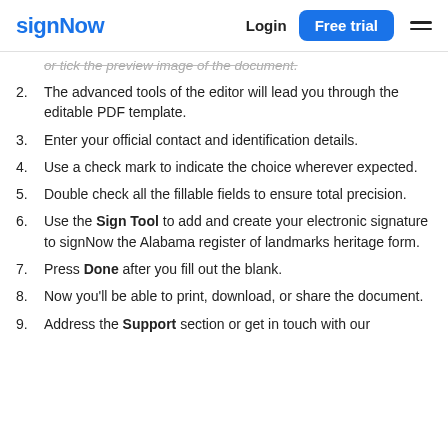signNow | Login | Free trial
or tick the preview image of the document.
2. The advanced tools of the editor will lead you through the editable PDF template.
3. Enter your official contact and identification details.
4. Use a check mark to indicate the choice wherever expected.
5. Double check all the fillable fields to ensure total precision.
6. Use the Sign Tool to add and create your electronic signature to signNow the Alabama register of landmarks heritage form.
7. Press Done after you fill out the blank.
8. Now you'll be able to print, download, or share the document.
9. Address the Support section or get in touch with our